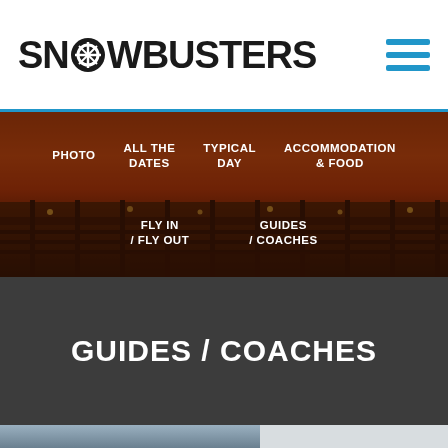SNOWBUSTERS
PHOTO
ALL THE DATES
TYPICAL DAY
ACCOMMODATION & FOOD
FLY IN / FLY OUT
GUIDES / COACHES
[Figure (photo): Sunset cityscape with street lights and a railing in the foreground, orange and red sky tones]
GUIDES / COACHES
[Figure (photo): Partial bottom strip showing snowy mountain imagery]